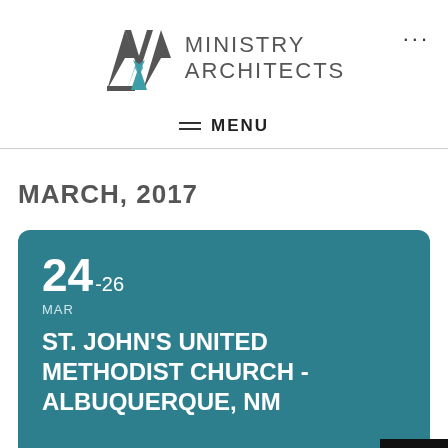[Figure (logo): Ministry Architects logo with stylized M and teal accent]
MENU
MARCH, 2017
24 - 26 MAR
ST. JOHN'S UNITED METHODIST CHURCH - ALBUQUERQUE, NM